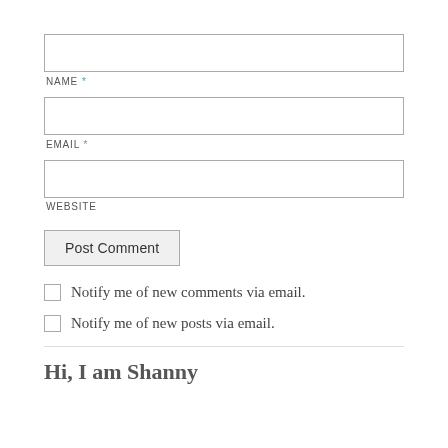NAME *
EMAIL *
WEBSITE
Post Comment
Notify me of new comments via email.
Notify me of new posts via email.
Hi, I am Shanny